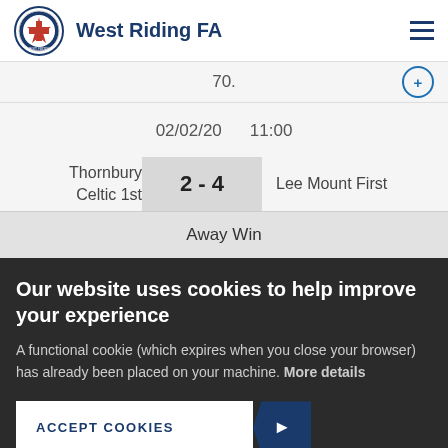West Riding FA
70.
02/02/20   11:00
| Home | Score | Away |
| --- | --- | --- |
| Thornbury Celtic 1st | 2 - 4 | Lee Mount First |
Away Win
Our website uses cookies to help improve your experience
A functional cookie (which expires when you close your browser) has already been placed on your machine. More details
ACCEPT COOKIES